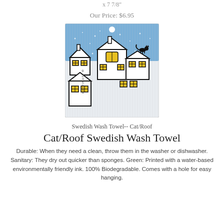x 7 7/8"
Our Price: $6.95
[Figure (illustration): Swedish wash towel product image showing illustrated snowy rooftops with yellow-windowed houses and a black cat silhouette on a roof, against a blue night sky with a white moon. The cloth has a ribbed texture. 'KATTINATT' is printed vertically on the left side.]
Swedish Wash Towel-- Cat/Roof
Cat/Roof Swedish Wash Towel
Durable: When they need a clean, throw them in the washer or dishwasher. Sanitary: They dry out quicker than sponges. Green: Printed with a water-based environmentally friendly ink. 100% Biodegradable. Comes with a hole for easy hanging.